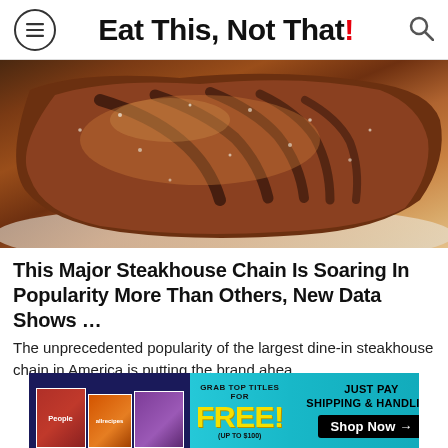Eat This, Not That!
[Figure (photo): Close-up of a grilled steak with char marks on a white plate]
This Major Steakhouse Chain Is Soaring In Popularity More Than Others, New Data Shows …
The unprecedented popularity of the largest dine-in steakhouse chain in America is putting the brand ahea…
[Figure (infographic): Advertisement banner: Grab top titles for FREE! (Up to $100) – Just Pay Shipping & Handling. Shop Now → Features People and allrecipes magazine covers.]